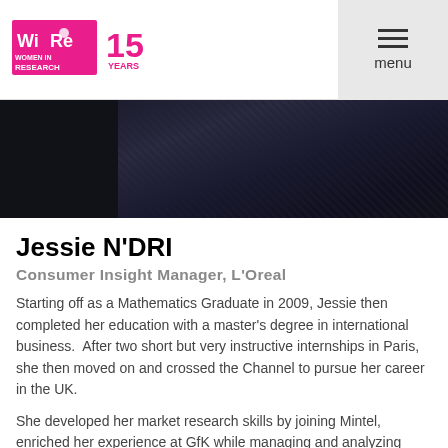WiRe Women in Research – 15 Years
[Figure (photo): Dark close-up photo, appears to be clothing or fabric in dark navy/black tones]
Jessie N'DRI
Consumer Insight Manager, L'Oreal
Starting off as a Mathematics Graduate in 2009, Jessie then completed her education with a master's degree in international business.  After two short but very instructive internships in Paris, she then moved on and crossed the Channel to pursue her career in the UK.
She developed her market research skills by joining Mintel, enriched her experience at GfK while managing and analyzing data, and then switched to